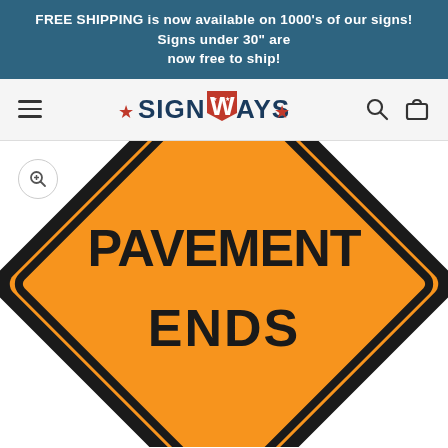FREE SHIPPING is now available on 1000's of our signs! Signs under 30" are now free to ship!
[Figure (logo): SignWays brand logo with stars on either side and a flag/shield in the W]
[Figure (photo): Orange diamond-shaped road construction warning sign reading PAVEMENT ENDS in bold black uppercase letters on orange background with black border]